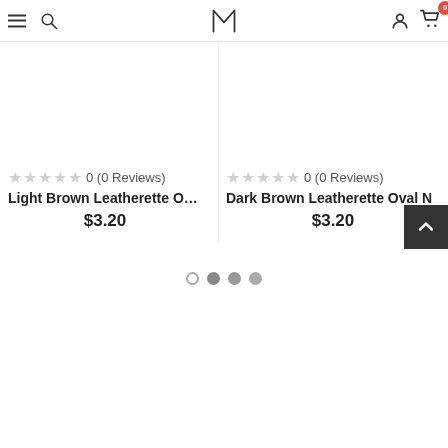Navigation header with menu, search, logo, account, and cart icons
0 (0 Reviews)
Light Brown Leatherette Oval N...
$3.20
0 (0 Reviews)
Dark Brown Leatherette Oval N
$3.20
[Figure (other): Carousel pagination dots: one outline circle and three filled grey circles]